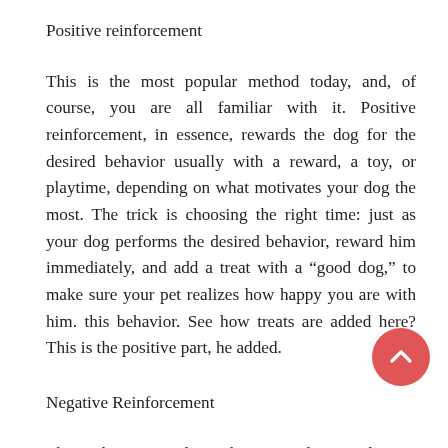Positive reinforcement
This is the most popular method today, and, of course, you are all familiar with it. Positive reinforcement, in essence, rewards the dog for the desired behavior usually with a reward, a toy, or playtime, depending on what motivates your dog the most. The trick is choosing the right time: just as your dog performs the desired behavior, reward him immediately, and add a treat with a “good dog,” to make sure your pet realizes how happy you are with him. this behavior. See how treats are added here? This is the positive part, he added.
Negative Reinforcement
This technique involves taking something unpleasant to reinforce the desired behavior. That’s how electric fences work, for example. When a dog gets too close to the perimeter, it gets a shock, but the shock is lost when the dog moves away from the boundary. In this